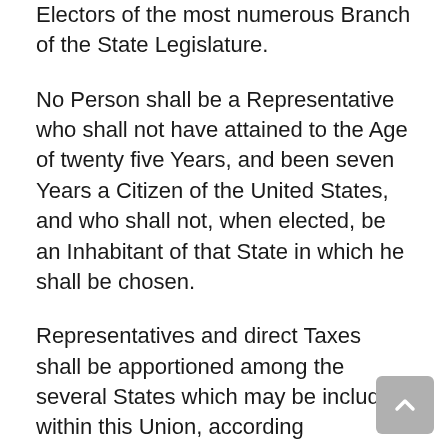Electors of the most numerous Branch of the State Legislature.
No Person shall be a Representative who shall not have attained to the Age of twenty five Years, and been seven Years a Citizen of the United States, and who shall not, when elected, be an Inhabitant of that State in which he shall be chosen.
Representatives and direct Taxes shall be apportioned among the several States which may be included within this Union, according to their respective Numbers...